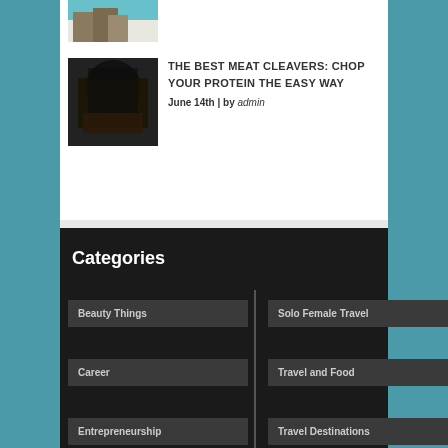[Figure (photo): Partial view of a coastal/cliff landscape photo at the top]
[Figure (photo): Dark thumbnail image of a person holding a cleaver or meat item]
THE BEST MEAT CLEAVERS: CHOP YOUR PROTEIN THE EASY WAY
June 14th | by admin
Categories
Beauty Things
Solo Female Travel
Career
Travel and Food
Entrepreneurship
Travel Destinations